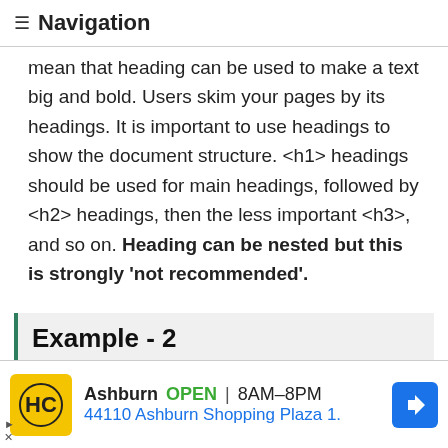≡ Navigation
mean that heading can be used to make a text big and bold. Users skim your pages by its headings. It is important to use headings to show the document structure. <h1> headings should be used for main headings, followed by <h2> headings, then the less important <h3>, and so on. Heading can be nested but this is strongly 'not recommended'.
Example - 2
ody>
Ashburn  OPEN  8AM–8PM
44110 Ashburn Shopping Plaza 1.